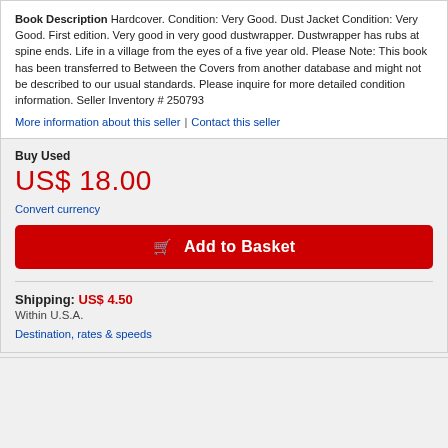Book Description Hardcover. Condition: Very Good. Dust Jacket Condition: Very Good. First edition. Very good in very good dustwrapper. Dustwrapper has rubs at spine ends. Life in a village from the eyes of a five year old. Please Note: This book has been transferred to Between the Covers from another database and might not be described to our usual standards. Please inquire for more detailed condition information. Seller Inventory # 250793
More information about this seller | Contact this seller
Buy Used
US$ 18.00
Convert currency
Add to Basket
Shipping: US$ 4.50
Within U.S.A.
Destination, rates & speeds